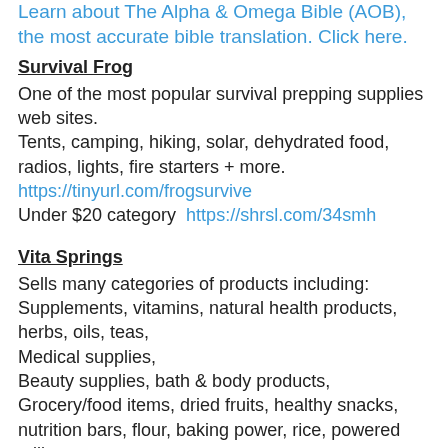Learn about The Alpha & Omega Bible (AOB), the most accurate bible translation. Click here.
Survival Frog
One of the most popular survival prepping supplies web sites.
Tents, camping, hiking, solar, dehydrated food, radios, lights, fire starters + more.
https://tinyurl.com/frogsurvive
Under $20 category  https://shrsl.com/34smh
Vita Springs
Sells many categories of products including:
Supplements, vitamins, natural health products, herbs, oils, teas,
Medical supplies,
Beauty supplies, bath & body products,
Grocery/food items, dried fruits, healthy snacks, nutrition bars, flour, baking power, rice, powered milk,
Seasonings, spices, baking products, cereals, candy, canned meats and more!